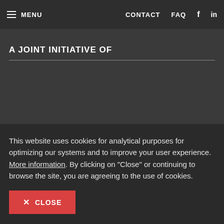≡ MENU   CONTACT   FAQ   f   in
A JOINT INITIATIVE OF
This website uses cookies for analytical purposes for optimizing our systems and to improve your user experience. More information. By clicking on "Close" or continuing to browse the site, you are agreeing to the use of cookies.